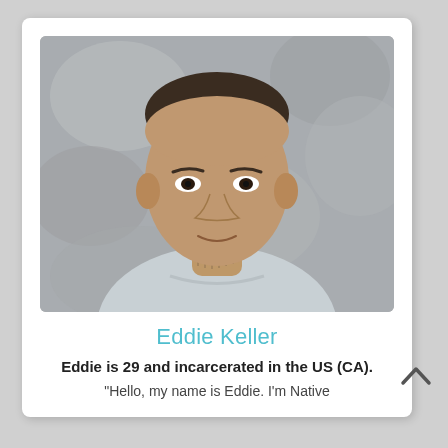[Figure (photo): Headshot photo of Eddie Keller, a young man with neck tattoos wearing a light blue sweatshirt, against a grey mottled background.]
Eddie Keller
Eddie is 29 and incarcerated in the US (CA).
"Hello, my name is Eddie. I'm Native